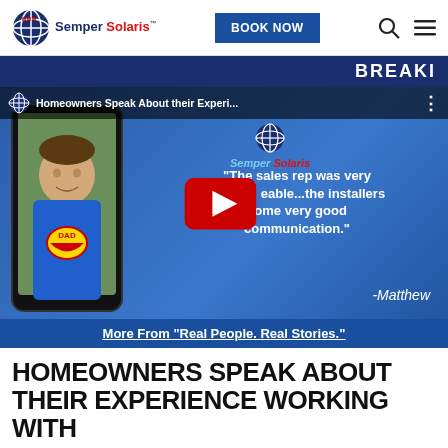Semper Solaris — BOOK NOW navigation header
BREAKI...
[Figure (screenshot): YouTube video thumbnail showing homeowner Matthew in a blue DAD Superman t-shirt on a phone screen, with Semper Solaris logo and quote: 'The sales rep was very k...eable...the installers some very good communication.' -Matthew. YouTube play button overlay. Title bar: Homeowners Speak About their Experi...]
More From "Real People. Real Stories."
HOMEOWNERS SPEAK ABOUT THEIR EXPERIENCE WORKING WITH